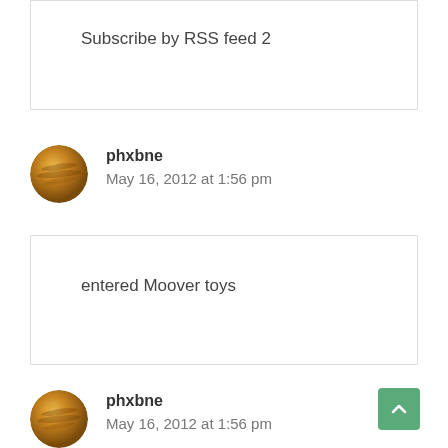Subscribe by RSS feed 2
phxbne
May 16, 2012 at 1:56 pm
entered Moover toys
phxbne
May 16, 2012 at 1:56 pm